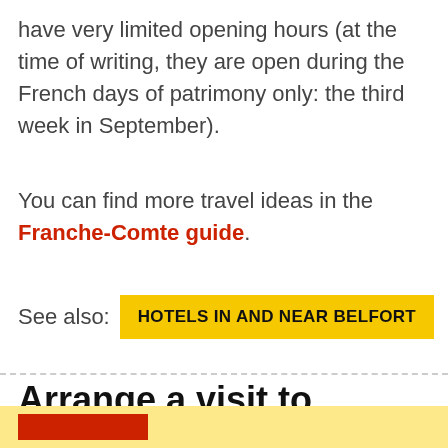have very limited opening hours (at the time of writing, they are open during the French days of patrimony only: the third week in September).
You can find more travel ideas in the Franche-Comte guide.
See also: HOTELS IN AND NEAR BELFORT
Arrange a visit to Belfort